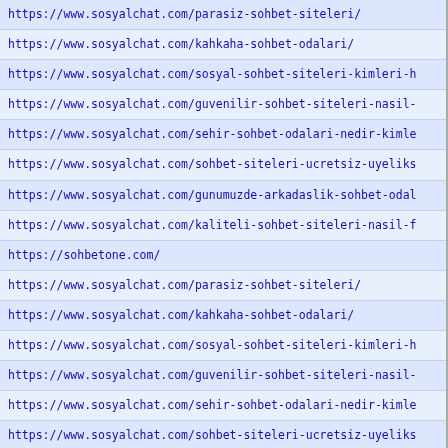https://www.sosyalchat.com/parasiz-sohbet-siteleri/
https://www.sosyalchat.com/kahkaha-sohbet-odalari/
https://www.sosyalchat.com/sosyal-sohbet-siteleri-kimleri-h
https://www.sosyalchat.com/guvenilir-sohbet-siteleri-nasil-
https://www.sosyalchat.com/sehir-sohbet-odalari-nedir-kimle
https://www.sosyalchat.com/sohbet-siteleri-ucretsiz-uyeliks
https://www.sosyalchat.com/gunumuzde-arkadaslik-sohbet-odal
https://www.sosyalchat.com/kaliteli-sohbet-siteleri-nasil-f
https://sohbetone.com/
https://www.sosyalchat.com/parasiz-sohbet-siteleri/
https://www.sosyalchat.com/kahkaha-sohbet-odalari/
https://www.sosyalchat.com/sosyal-sohbet-siteleri-kimleri-h
https://www.sosyalchat.com/guvenilir-sohbet-siteleri-nasil-
https://www.sosyalchat.com/sehir-sohbet-odalari-nedir-kimle
https://www.sosyalchat.com/sohbet-siteleri-ucretsiz-uyeliks